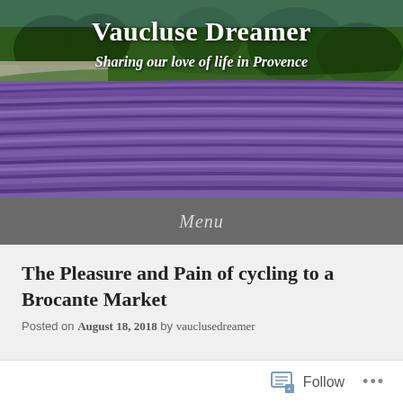[Figure (photo): Header image of lavender fields in Provence with trees and hills in background, with blog title and tagline overlaid]
Vaucluse Dreamer
Sharing our love of life in Provence
Menu
The Pleasure and Pain of cycling to a Brocante Market
Posted on August 18, 2018 by vauclusedreamer
Follow ...